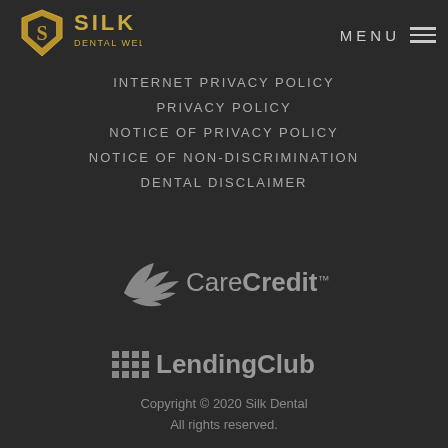[Figure (logo): Silk Dental Wellness logo — gold diamond hexagon shape with S inside, text SILK DENTAL WELLNESS]
MENU ☰
INTERNET PRIVACY POLICY
PRIVACY POLICY
NOTICE OF PRIVACY POLICY
NOTICE OF NON-DISCRIMINATION
DENTAL DISCLAIMER
[Figure (logo): CareCredit logo with stylized bird/leaf wing icon and text CareCredit with SM superscript]
[Figure (logo): LendingClub logo with grid of dots icon and text LendingClub]
Copyright © 2020 Silk Dental
All rights reserved.